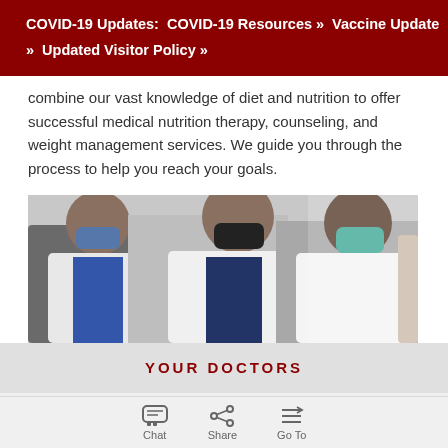COVID-19 Updates:   COVID-19 Resources »   Vaccine Update »   Updated Visitor Policy »
combine our vast knowledge of diet and nutrition to offer successful medical nutrition therapy, counseling, and weight management services. We guide you through the process to help you reach your goals.
[Figure (photo): Three medical professionals in white lab coats wearing face masks, standing and conversing in a clinical setting.]
YOUR DOCTORS